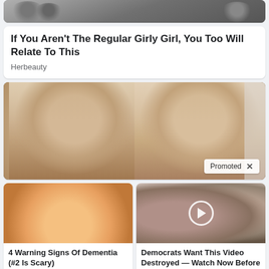[Figure (photo): Top partial image of people, cropped at top of page]
If You Aren't The Regular Girly Girl, You Too Will Relate To This
Herbeauty
[Figure (photo): Close-up photo of two young girls with blonde hair facing camera. A 'Promoted X' badge appears in bottom right corner.]
[Figure (photo): Close-up of fingers/nails, left mini ad card]
4 Warning Signs Of Dementia (#2 Is Scary)
🔥 14,840
[Figure (photo): Photo of two people (man and woman), right mini ad card with video play button overlay]
Democrats Want This Video Destroyed — Watch Now Before It's Banned
🔥 233,988